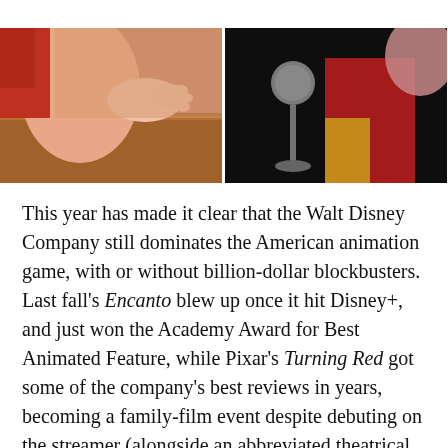[Figure (illustration): Two side-by-side animation stills. Left image shows a warm-toned animated scene with peach/salmon skin tones and brown wooden background suggesting a character reaching out. Right image shows a dark background with a microphone stand, a figure in red, yellow and pink tones against a black background, suggesting a performance scene.]
This year has made it clear that the Walt Disney Company still dominates the American animation game, with or without billion-dollar blockbusters. Last fall's Encanto blew up once it hit Disney+, and just won the Academy Award for Best Animated Feature, while Pixar's Turning Red got some of the company's best reviews in years, becoming a family-film event despite debuting on the streamer (alongside an abbreviated theatrical run—meant to qualify it for next year's Oscars). But as successful as Disney is, their control of the market is far from complete. DreamWorks unveils their latest feature The Bad Guys this month, Illumination's Sing 2 actually outgrossed the theatrical run of Encanto and Jujutsu Kaisen 0: The Movie, a film prequel to a popular anime